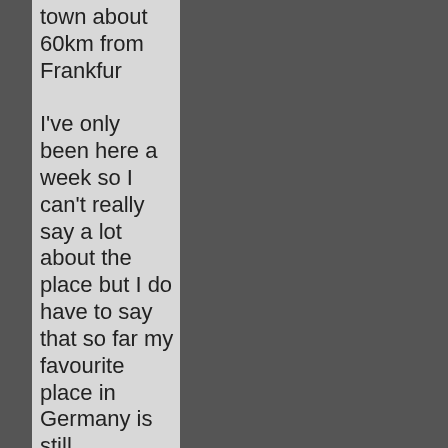town about 60km from Frankfurt

I've only been here a week so I can't really say a lot about the place but I do have to say that so far my favourite place in Germany is still